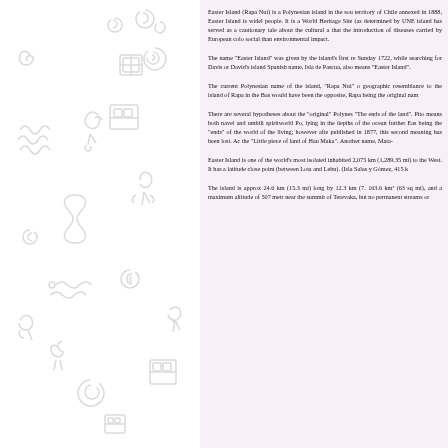[Figure (illustration): Decorative Rapa Nui / Easter Island rongorongo glyphs and symbols drawn in light gray on white background, arranged across the left panel of the page. Symbols include spiral shapes, rectangular designs, animal-like figures, wave patterns, and anthropomorphic forms.]
Easter Island (Rapa Nui) is a Polynesian island in the sou territory of Chile annexed in 1888, Easter Island is widely people. It is a World Heritage Site (as determined by UNE island has served as a cautionary tale about the cultural a that the introduction of diseases carried by European colo social than environmental impact.
The name "Easter Island" was given by the island's first re Sunday 1722, while searching for Davis or David's island Spanish name, Isla de Pascua, also means "Easter Island"
The current Polynesian name of the island, "Rapa Nui" o geographic resemblance to the island of Rapa in the Bas would have been the opposite, Rapa being the original nam
There are several hypotheses about the "original" Polynes "The ends of the land". Pito means both navel and umbili spiritworld Po, lying in the depths of the ocean further Eas being the "ends" of the world of the living; however afte published in 1877, this second meaning has been lost. Ac the "Little piece of land of Hau Maka". Another name, Mata-
Easter Island is one of the world's most isolated inhabited 2,075 km (1,289.35 mi) to the West. It has a latitude close point (between Lota and Lebu). (Isla Salas y Gómez, 415 k
The island is approx 24.6 km (15.3 mi) long by 12.3 km (7. 163.6 km² (63 sq mi), and a maximum altitude of 507 metr near the summit of Terevaka, but no permanent streams or